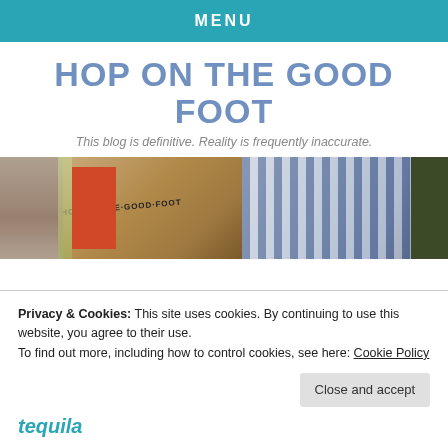MENU
HOP ON THE GOOD FOOT
This blog is definitive. Reality is frequently inaccurate.
[Figure (photo): Header collage image showing a hand with 'HOP ON THE GOOD FOOT' written on it, a red sign, and blue-and-white striped fabric, with a stone wall background]
Privacy & Cookies: This site uses cookies. By continuing to use this website, you agree to their use.
To find out more, including how to control cookies, see here: Cookie Policy
Close and accept
tequila